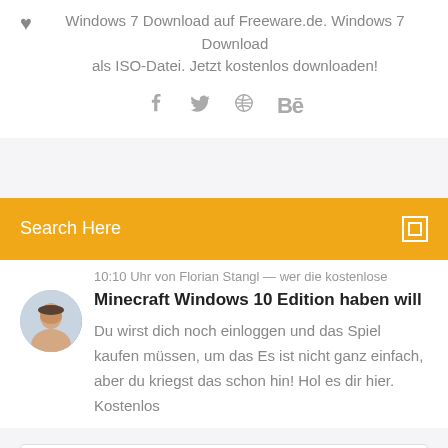Windows 7 Download auf Freeware.de. Windows 7 Download als ISO-Datei. Jetzt kostenlos downloaden!
[Figure (other): Social sharing icons: Facebook (f), Twitter (bird), Dribbble (circle with lines), Behance (Be)]
Search Here
10:10 Uhr von Florian Stangl — wer die kostenlose Minecraft Windows 10 Edition haben will
Minecraft Windows 10 Edition haben will
[Figure (photo): Circular avatar photo of a man with short hair]
Du wirst dich noch einloggen und das Spiel kaufen müssen, um das Es ist nicht ganz einfach, aber du kriegst das schon hin! Hol es dir hier. Kostenlos
Search Keyword